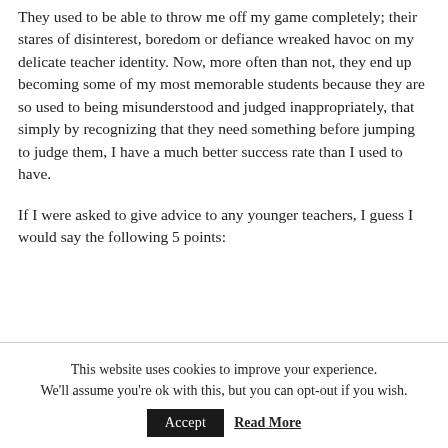They used to be able to throw me off my game completely; their stares of disinterest, boredom or defiance wreaked havoc on my delicate teacher identity. Now, more often than not, they end up becoming some of my most memorable students because they are so used to being misunderstood and judged inappropriately, that simply by recognizing that they need something before jumping to judge them, I have a much better success rate than I used to have.
If I were asked to give advice to any younger teachers, I guess I would say the following 5 points:
This website uses cookies to improve your experience. We'll assume you're ok with this, but you can opt-out if you wish. Accept Read More